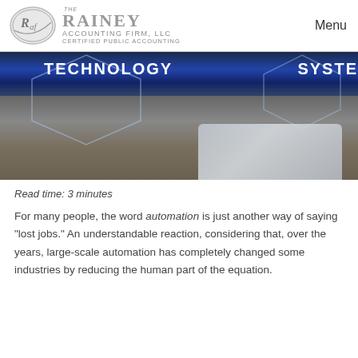[Figure (logo): Rainey Accounting Firm LLC logo with circular emblem and company name]
[Figure (photo): Banner image showing technology and systems text overlaid on dark blue hexagonal shapes and a blurred tablet/wooden surface background]
Read time: 3 minutes
For many people, the word automation is just another way of saying “lost jobs.” An understandable reaction, considering that, over the years, large-scale automation has completely changed some industries by reducing the human part of the equation.